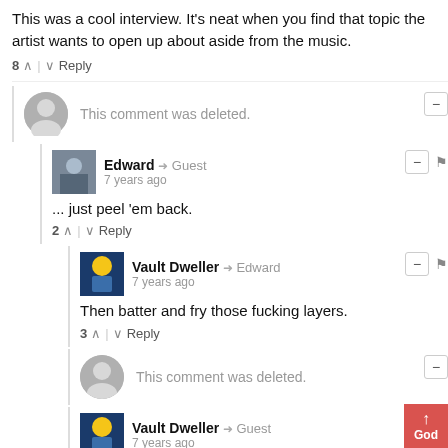This was a cool interview. It's neat when you find that topic the artist wants to open up about aside from the music.
8 ^ | v Reply
This comment was deleted.
Edward → Guest
7 years ago
... just peel 'em back.
2 ^ | v Reply
Vault Dweller → Edward
7 years ago
Then batter and fry those fucking layers.
3 ^ | v Reply
This comment was deleted.
Vault Dweller → Guest
7 years ago
College roommate and I were routine patrons of the God